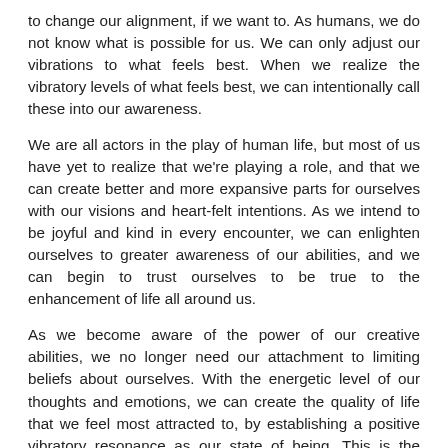to change our alignment, if we want to. As humans, we do not know what is possible for us. We can only adjust our vibrations to what feels best. When we realize the vibratory levels of what feels best, we can intentionally call these into our awareness.
We are all actors in the play of human life, but most of us have yet to realize that we're playing a role, and that we can create better and more expansive parts for ourselves with our visions and heart-felt intentions. As we intend to be joyful and kind in every encounter, we can enlighten ourselves to greater awareness of our abilities, and we can begin to trust ourselves to be true to the enhancement of life all around us.
As we become aware of the power of our creative abilities, we no longer need our attachment to limiting beliefs about ourselves. With the energetic level of our thoughts and emotions, we can create the quality of life that we feel most attracted to, by establishing a positive vibratory resonance as our state of being. This is the energetic radiance that we send into the quantum field for manifestation into our experience.
By increasing our ability to maintain a joyous and grateful